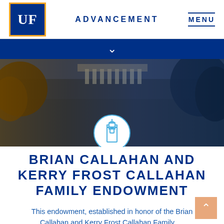UF ADVANCEMENT MENU
[Figure (photo): University of Florida campus building photo with warm amber to cool blue color gradient overlay, and a circular UF tower icon centered at the bottom of the image]
BRIAN CALLAHAN AND KERRY FROST CALLAHAN FAMILY ENDOWMENT
This endowment, established in honor of the Brian Callahan and Kerry Frost Callahan Family, ...